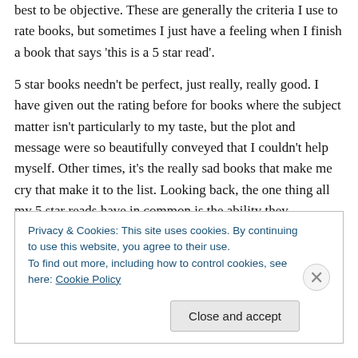best to be objective. These are generally the criteria I use to rate books, but sometimes I just have a feeling when I finish a book that says 'this is a 5 star read'.
5 star books needn't be perfect, just really, really good. I have given out the rating before for books where the subject matter isn't particularly to my taste, but the plot and message were so beautifully conveyed that I couldn't help myself. Other times, it's the really sad books that make me cry that make it to the list. Looking back, the one thing all my 5 star reads have in common is the ability they
Privacy & Cookies: This site uses cookies. By continuing to use this website, you agree to their use.
To find out more, including how to control cookies, see here: Cookie Policy
[Close and accept]